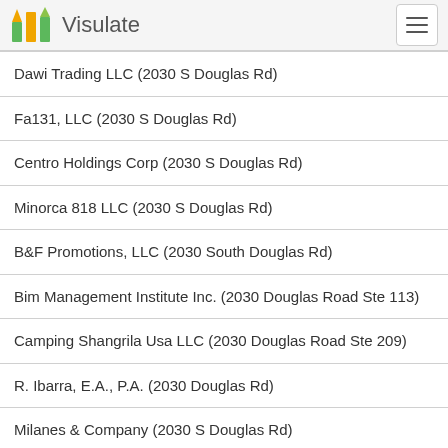Visulate
Dawi Trading LLC (2030 S Douglas Rd)
Fa131, LLC (2030 S Douglas Rd)
Centro Holdings Corp (2030 S Douglas Rd)
Minorca 818 LLC (2030 S Douglas Rd)
B&F Promotions, LLC (2030 South Douglas Rd)
Bim Management Institute Inc. (2030 Douglas Road Ste 113)
Camping Shangrila Usa LLC (2030 Douglas Road Ste 209)
R. Ibarra, E.A., P.A. (2030 Douglas Rd)
Milanes & Company (2030 S Douglas Rd)
Bnz Little Havana, LLC (2030 South Douglas Rd)